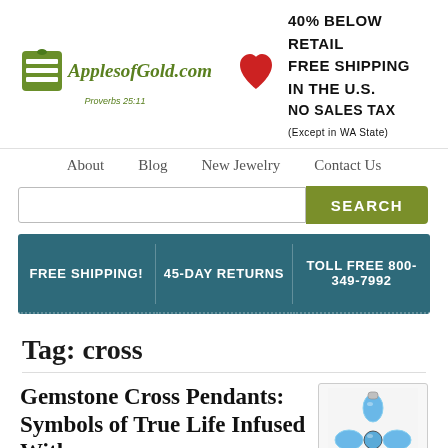[Figure (logo): ApplesofGold.com logo with green icon and Proverbs 25:11 tagline, red heart icon, and promotional text: 40% BELOW RETAIL, FREE SHIPPING IN THE U.S., NO SALES TAX (Except in WA State)]
About   Blog   New Jewelry   Contact Us
[Figure (other): Search bar with text input and green SEARCH button]
[Figure (infographic): Teal banner with FREE SHIPPING!, 45-DAY RETURNS, TOLL FREE 800-349-7992]
Tag: cross
Gemstone Cross Pendants: Symbols of True Life Infused With
[Figure (photo): Photo of a blue gemstone cross pendant with silver setting on white background]